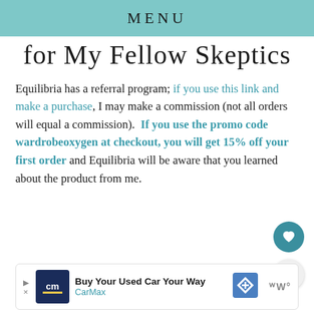MENU
for My Fellow Skeptics
Equilibria has a referral program; if you use this link and make a purchase, I may make a commission (not all orders will equal a commission).  If you use the promo code wardrobeoxygen at checkout, you will get 15% off your first order and Equilibria will be aware that you learned about the product from me.
[Figure (other): Advertisement banner for CarMax: Buy Your Used Car Your Way, with CarMax logo, navigation icon, and Wayfair logo]